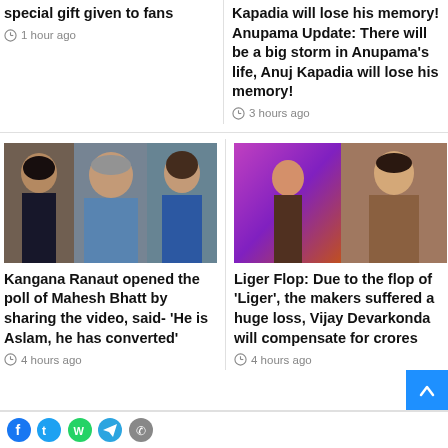special gift given to fans
1 hour ago
Kapadia will lose his memory! Anupama Update: There will be a big storm in Anupama's life, Anuj Kapadia will lose his memory!
3 hours ago
[Figure (photo): Photo collage showing Kangana Ranaut, Mahesh Bhatt, and another woman]
Kangana Ranaut opened the poll of Mahesh Bhatt by sharing the video, said- 'He is Aslam, he has converted'
4 hours ago
[Figure (photo): Photo collage showing scenes from movie Liger and actor Vijay Devarkonda]
Liger Flop: Due to the flop of 'Liger', the makers suffered a huge loss, Vijay Devarkonda will compensate for crores
4 hours ago
Social media icons: Facebook, Twitter, WhatsApp, Telegram, Phone